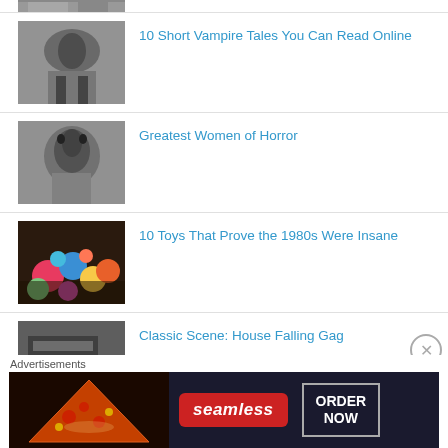[Figure (photo): Partial thumbnail of horror/vampire image, top cropped]
10 Short Vampire Tales You Can Read Online
[Figure (photo): Black and white horror image, vampire scene]
Greatest Women of Horror
[Figure (photo): Black and white horror image, screaming face]
10 Toys That Prove the 1980s Were Insane
[Figure (photo): Colorful cupcakes and sweets]
Classic Scene: House Falling Gag
[Figure (photo): Black and white classic scene image, partial]
Advertisements
[Figure (photo): Seamless food delivery advertisement banner with pizza, ORDER NOW button]